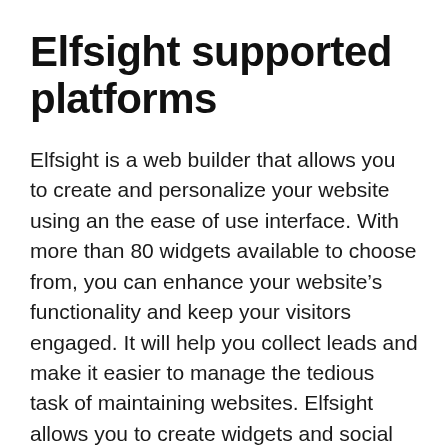Elfsight supported platforms
Elfsight is a web builder that allows you to create and personalize your website using an the ease of use interface. With more than 80 widgets available to choose from, you can enhance your website’s functionality and keep your visitors engaged. It will help you collect leads and make it easier to manage the tedious task of maintaining websites. Elfsight allows you to create widgets and social share buttons that link users with their social networks.
The platform provides free lifetime support,